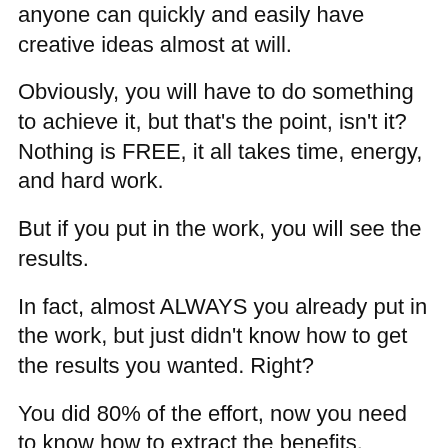anyone can quickly and easily have creative ideas almost at will.
Obviously, you will have to do something to achieve it, but that's the point, isn't it? Nothing is FREE, it all takes time, energy, and hard work.
But if you put in the work, you will see the results.
In fact, almost ALWAYS you already put in the work, but just didn't know how to get the results you wanted. Right?
You did 80% of the effort, now you need to know how to extract the benefits.